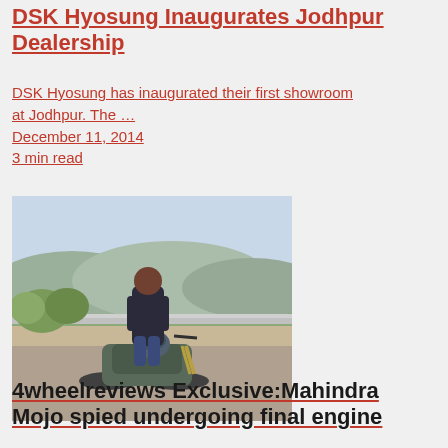DSK Hyosung Inaugurates Jodhpur Dealership
DSK Hyosung has inaugurated their first showroom at Jodhpur. The …
December 11, 2014
3 min read
[Figure (photo): A man standing beside a motorcycle (Mahindra Mojo or similar sport bike) parked on a roadside with a barrier, trees, and hilly landscape in the background.]
4wheelreviews Exclusive:Mahindra Mojo spied undergoing final engine